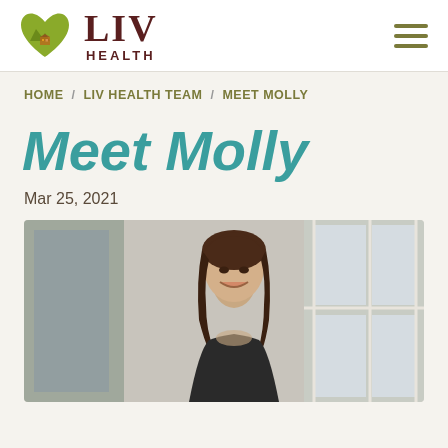[Figure (logo): LIV Health logo with green heart icon and mountain design, with 'LIV HEALTH' text in dark red]
HOME / LIV HEALTH TEAM / MEET MOLLY
Meet Molly
Mar 25, 2021
[Figure (photo): Professional photo of a smiling young woman with long brown hair, wearing a dark blazer, photographed near windows]